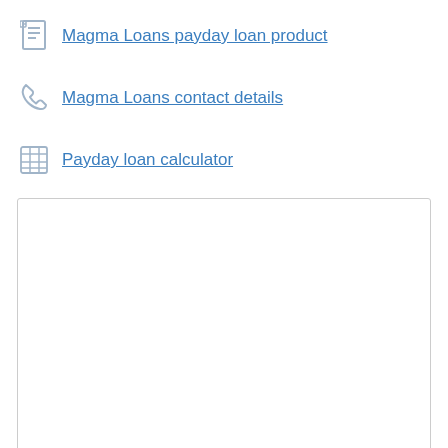Magma Loans payday loan product
Magma Loans contact details
Payday loan calculator
[Figure (screenshot): A white empty box/panel with a light gray border, likely a calculator or content iframe area]